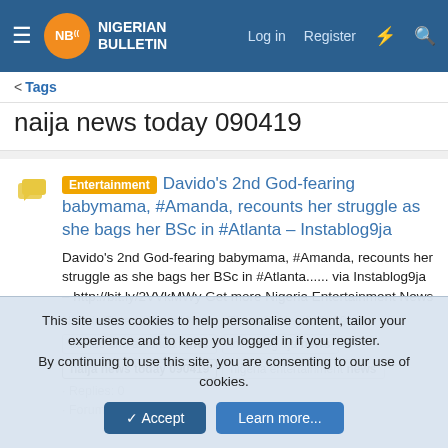Nigerian Bulletin — Log in | Register
< Tags
naija news today 090419
Entertainment  Davido's 2nd God-fearing babymama, #Amanda, recounts her struggle as she bags her BSc in #Atlanta – Instablog9ja
Davido's 2nd God-fearing babymama, #Amanda, recounts her struggle as she bags her BSc in #Atlanta...... via Instablog9ja – http://bit.ly/2VVkMWy Get more Nigeria Entertainment News
Nigeria Entertainment News · Thread · May 9, 2019 · davido and amanda news  instablog 9ja news  naija news today 090419  nigeria entertainment news · Replies: 0 · Forum: Entertainment
This site uses cookies to help personalise content, tailor your experience and to keep you logged in if you register.
By continuing to use this site, you are consenting to our use of cookies.